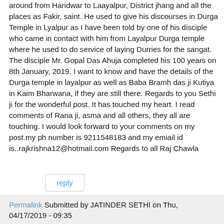around from Haridwar to Laayalpur, District jhang and all the places as Fakir, saint. He used to give his discourses in Durga Temple in Lyalpur as I have been told by one of his disciple who came in contact with him from Layalpur Durga temple where he used to do service of laying Durries for the sangat. The disciple Mr. Gopal Das Ahuja completed his 100 years on 8th January, 2019. I want to know and have the details of the Durga temple in layalpur as well as Baba Bramh das ji Kutiya in Kaim Bharwana, if they are still there. Regards to you Sethi ji for the wonderful post. It has touched my heart. I read comments of Rana ji, asma and all others, they all are touching. I would look forward to your comments on my post.my ph number is 9211548183 and my emiail id is..rajkrishna12@hotmail.com Regards to all Raj Chawla
reply
Permalink Submitted by JATINDER SETHI on Thu, 04/17/2019 - 09:35